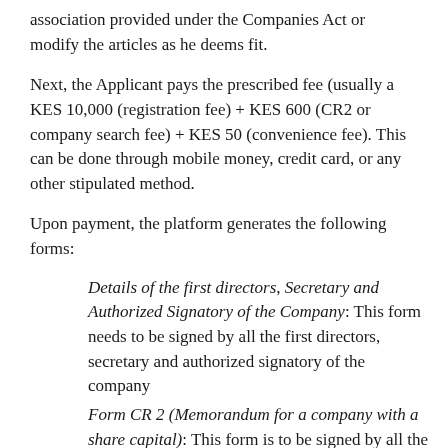association provided under the Companies Act or modify the articles as he deems fit.
Next, the Applicant pays the prescribed fee (usually a KES 10,000 (registration fee) + KES 600 (CR2 or company search fee) + KES 50 (convenience fee). This can be done through mobile money, credit card, or any other stipulated method.
Upon payment, the platform generates the following forms:
Details of the first directors, Secretary and Authorized Signatory of the Company: This form needs to be signed by all the first directors, secretary and authorized signatory of the company
Form CR 2 (Memorandum for a company with a share capital): This form is to be signed by all the subscribers to the shares of the company
Form CR 8 (Notice of Residential Address/Change of Address of Director of a Company)-This form is to be signed by the